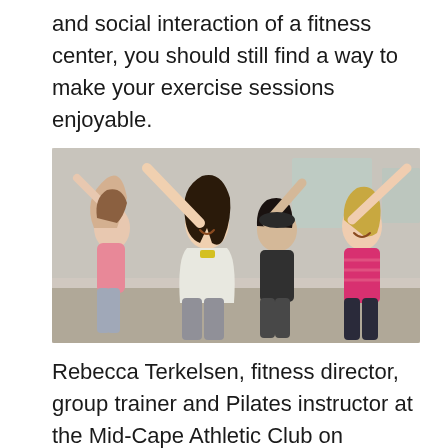and social interaction of a fitness center, you should still find a way to make your exercise sessions enjoyable.
[Figure (photo): Group of people doing a side-stretch exercise in a fitness class setting, smiling and leaning to one side with arms raised.]
Rebecca Terkelsen, fitness director, group trainer and Pilates instructor at the Mid-Cape Athletic Club on White's Path in Yarmouth, suggests starting out with something that allows you to move at your own pace – like yoga or a Zumba group dance class, which will get you